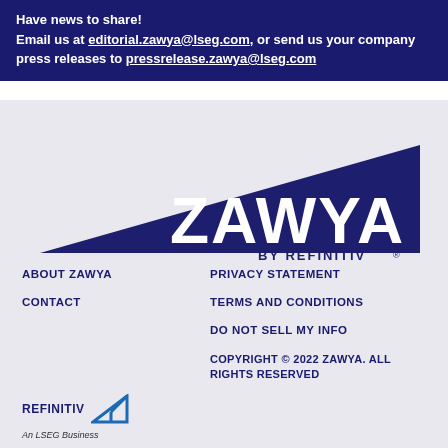Have news to share! Email us at editorial.zawya@lseg.com, or send us your company press releases to pressrelease.zawya@lseg.com
[Figure (logo): Zawya by Refinitiv logo — dark navy triangle shape on left with large ZAWYA text and 'BY REFINITIV' subtitle on light grey background]
ABOUT ZAWYA
CONTACT
PRIVACY STATEMENT
TERMS AND CONDITIONS
DO NOT SELL MY INFO
COPYRIGHT © 2022 ZAWYA. ALL RIGHTS RESERVED
[Figure (logo): Refinitiv logo with stylized arrow icon and 'An LSEG Business' tagline in italic]